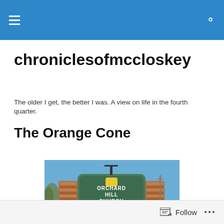chroniclesofmccloskey
chroniclesofmccloskey
The older I get, the better I was. A view on life in the fourth quarter.
The Orange Cone
[Figure (photo): Photo of Orchard Hill Church sign with brick pillars under a blue sky with bare trees in background]
Follow ...